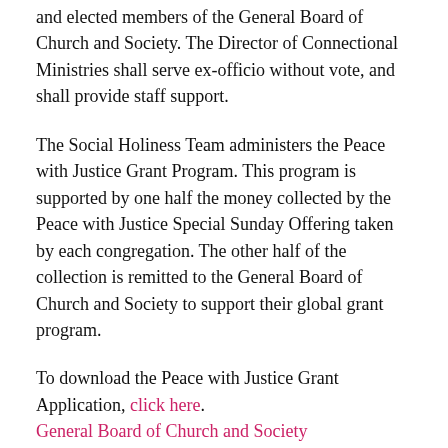and elected members of the General Board of Church and Society. The Director of Connectional Ministries shall serve ex-officio without vote, and shall provide staff support.
The Social Holiness Team administers the Peace with Justice Grant Program. This program is supported by one half the money collected by the Peace with Justice Special Sunday Offering taken by each congregation. The other half of the collection is remitted to the General Board of Church and Society to support their global grant program.
To download the Peace with Justice Grant Application, click here.
General Board of Church and Society
Visit our Facebook page!